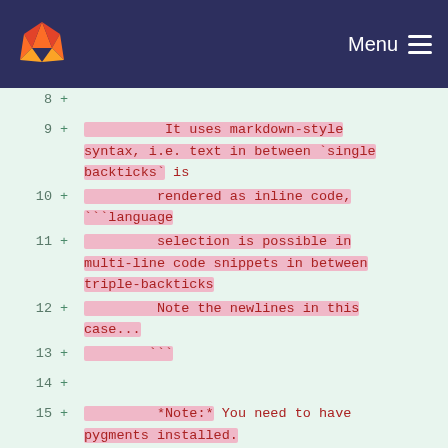[Figure (screenshot): GitLab navigation bar with fox logo and Menu button on dark navy background]
Code diff view showing lines 8-18 of a file with added lines (marked with +) containing markdown/plugin documentation text
8  +
9  +          It uses markdown-style syntax, i.e. text in between `single backticks` is
10 +          rendered as inline code, ```language
11 +          selection is possible in multi-line code snippets in between triple-backticks
12 +          Note the newlines in this case...
13 +          ```
14 +
15 +          *Note:* You need to have pygments installed.
16 +          Please refer to the plugin's Wiki page for more information.
17 +
18 +          Changing settings will take effect after closing and opening the